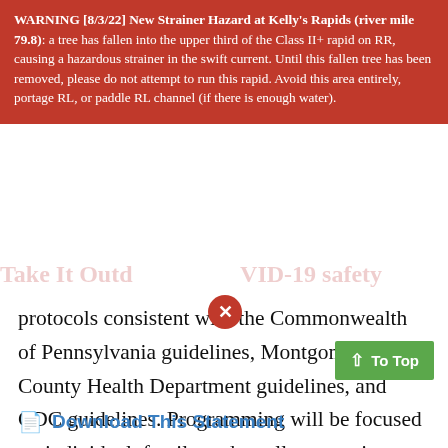WARNING [8/3/22] New Strainer Hazard at Kelly's Rapids (river mile 79.8): a tree has fallen into the upper third of the Class II+ rapid on RR, causing a hazardous strainer in the swift current. Until this fallen tree has been removed, please do not attempt to run this rapid. Avoid this area entirely, portage RL, or paddle RL channel (if there is enough water).
protocols consistent with the Commonwealth of Pennsylvania guidelines, Montgomery County Health Department guidelines, and CDC guidelines. Programming will be focused on individual, family and small group trips. Corporate outings and team building trips are also a new feature. For more information, visit the website at takeitoutdoorsadventures.com.
Download This Statement